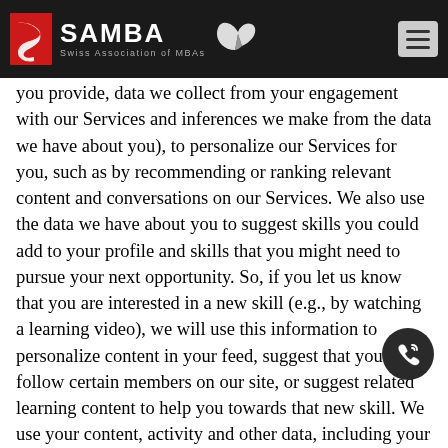SAMBA | Swiss Association of MBAs
you provide, data we collect from your engagement with our Services and inferences we make from the data we have about you), to personalize our Services for you, such as by recommending or ranking relevant content and conversations on our Services. We also use the data we have about you to suggest skills you could add to your profile and skills that you might need to pursue your next opportunity. So, if you let us know that you are interested in a new skill (e.g., by watching a learning video), we will use this information to personalize content in your feed, suggest that you follow certain members on our site, or suggest related learning content to help you towards that new skill. We use your content, activity and other data, including your name and photo, to provide notices to your network and others.
Our Services allow you to collaborate with colleagues, search for potential clients, customers, partners and others to do business with. Our Services allow you to communicate with other Members and schedule and